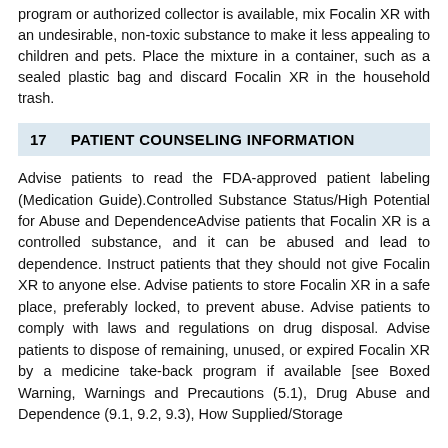program or authorized collector is available, mix Focalin XR with an undesirable, non-toxic substance to make it less appealing to children and pets. Place the mixture in a container, such as a sealed plastic bag and discard Focalin XR in the household trash.
17   PATIENT COUNSELING INFORMATION
Advise patients to read the FDA-approved patient labeling (Medication Guide).Controlled Substance Status/High Potential for Abuse and DependenceAdvise patients that Focalin XR is a controlled substance, and it can be abused and lead to dependence. Instruct patients that they should not give Focalin XR to anyone else. Advise patients to store Focalin XR in a safe place, preferably locked, to prevent abuse. Advise patients to comply with laws and regulations on drug disposal. Advise patients to dispose of remaining, unused, or expired Focalin XR by a medicine take-back program if available [see Boxed Warning, Warnings and Precautions (5.1), Drug Abuse and Dependence (9.1, 9.2, 9.3), How Supplied/Storage